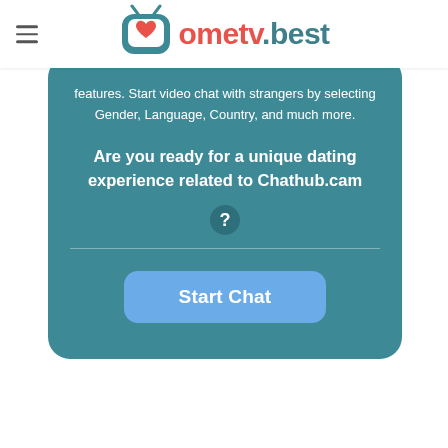ometv.best
features. Start video chat with strangers by selecting Gender, Language, Country, and much more.
Are you ready for a unique dating experience related to Chathub.cam
[Figure (other): Question mark icon circle]
Start Chat